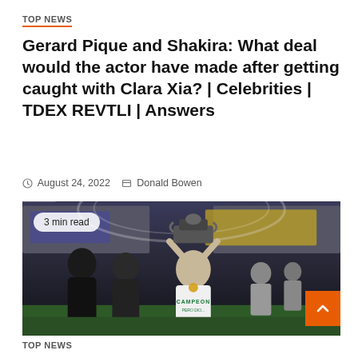TOP NEWS
Gerard Pique and Shakira: What deal would the actor have made after getting caught with Clara Xia? | Celebrities | TDEX REVTLI | Answers
August 24, 2022   Donald Bowen
[Figure (photo): Soccer player holding trophy above his head in a stadium, wearing a white jersey with 'CAMPEON' written on it and a gold medal. Badge reading '3 min read' overlaid on image. Orange scroll-to-top button in bottom right corner.]
TOP NEWS